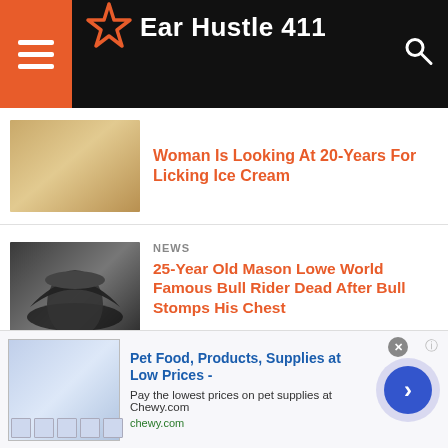Ear Hustle 411
Woman Is Looking At 20-Years For Licking Ice Cream
NEWS
25-Year Old Mason Lowe World Famous Bull Rider Dead After Bull Stomps His Chest
REALITY TV
Shark Tank's Star Barbara Corcoran's Brother Found Dead In Dominican Republic Hotel Room
[Figure (infographic): Advertisement banner: Pet Food, Products, Supplies at Low Prices - Pay the lowest prices on pet supplies at Chewy.com, chewy.com]
Pet Food, Products, Supplies at Low Prices - Pay the lowest prices on pet supplies at Chewy.com chewy.com